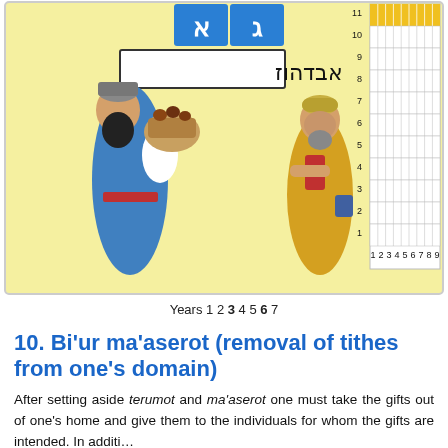[Figure (illustration): Educational illustration showing two figures (a rabbi in blue robes holding a basket of fruit and a merchant in yellow robes), Hebrew letters (alef, bet, gimel, dalet, heh, vav, zayin) on blocks, and a grid chart with y-axis 1-11 and x-axis 1-9, with row 11 highlighted in yellow/gold.]
Years 1 2 3 4 5 6 7
10. Bi'ur ma'aserot (removal of tithes from one's domain)
After setting aside terumot and ma'aserot one must take the gifts out of one's home and give them to the individuals for whom the gifts are intended. In additi...